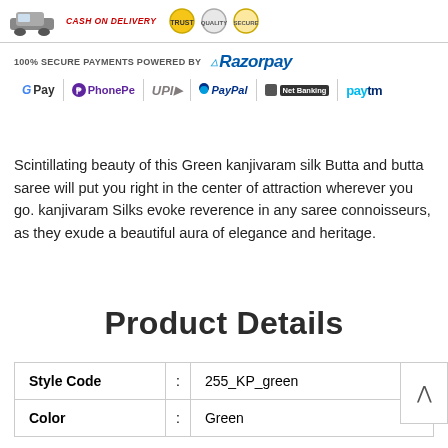[Figure (screenshot): Top banner with car delivery image, trust badge icons, and payment section showing Razorpay logo and payment method icons (GPay, PhonePe, UPI, PayPal, Net Banking, Paytm)]
Scintillating beauty of this Green kanjivaram silk Butta and butta saree will put you right in the center of attraction wherever you go. kanjivaram Silks evoke reverence in any saree connoisseurs, as they exude a beautiful aura of elegance and heritage.
Product Details
| Style Code | : | 255_KP_green |
| Color | : | Green |